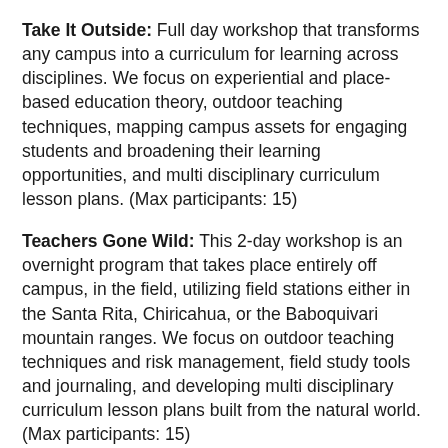Take It Outside: Full day workshop that transforms any campus into a curriculum for learning across disciplines. We focus on experiential and place-based education theory, outdoor teaching techniques, mapping campus assets for engaging students and broadening their learning opportunities, and multi disciplinary curriculum lesson plans. (Max participants: 15)
Teachers Gone Wild: This 2-day workshop is an overnight program that takes place entirely off campus, in the field, utilizing field stations either in the Santa Rita, Chiricahua, or the Baboquivari mountain ranges. We focus on outdoor teaching techniques and risk management, field study tools and journaling, and developing multi disciplinary curriculum lesson plans built from the natural world. (Max participants: 15)
Senderos: meaning “pathways” in Spanish, is a 5-day workshop that builds a school to public lands pathway to get students and teachers outside and engaged in